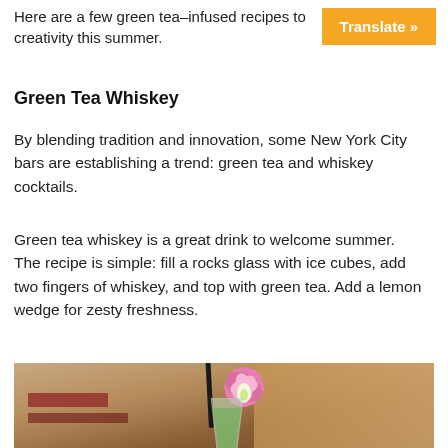Here are a few green tea-infused recipes to creativity this summer.
[Figure (other): Orange 'Translate »' button in top-right corner]
Green Tea Whiskey
By blending tradition and innovation, some New York City bars are establishing a trend: green tea and whiskey cocktails.
Green tea whiskey is a great drink to welcome summer. The recipe is simple: fill a rocks glass with ice cubes, add two fingers of whiskey, and top with green tea. Add a lemon wedge for zesty freshness.
[Figure (photo): Photo of a green cocktail in a rocks glass garnished with a pink flower and black straw, on a bar counter with warm blurred background]